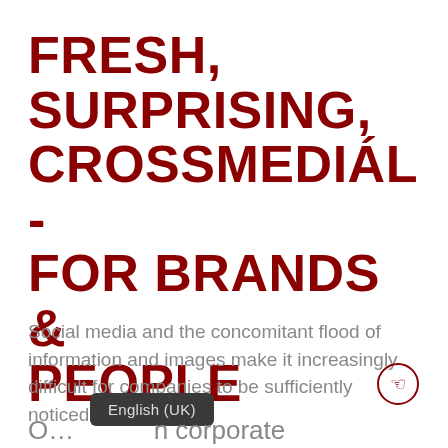FRESH, SURPRISING, CROSSMEDIÁL - FOR BRANDS & PEOPLE
Social media and the concomitant flood of information and images make it increasingly difficult for companies to be sufficiently noticed.
English (UK)
O… …n corporate